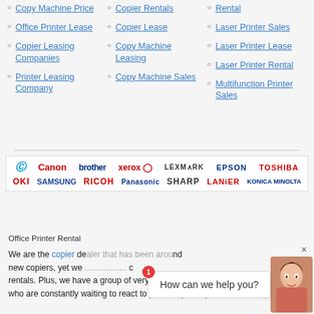Copy Machine Price
Copier Rentals
Rental
Office Printer Lease
Copier Lease
Laser Printer Sales
Copier Leasing Companies
Copy Machine Leasing
Laser Printer Lease
Laser Printer Rental
Printer Leasing Company
Copy Machine Sales
Multifunction Printer Sales
[Figure (logo): Brand logos banner: HP, Canon, Brother, Xerox, Lexmark, Epson, Toshiba, OKI, Samsung, Ricoh, Panasonic, Sharp, Lanier, Konica Minolta]
Office Printer Rental
We are the copier dealer that has been around... new copiers, yet we... rentals. Plus, we have a group of very educated, passionate experts who are constantly waiting to react to photo copier repair work